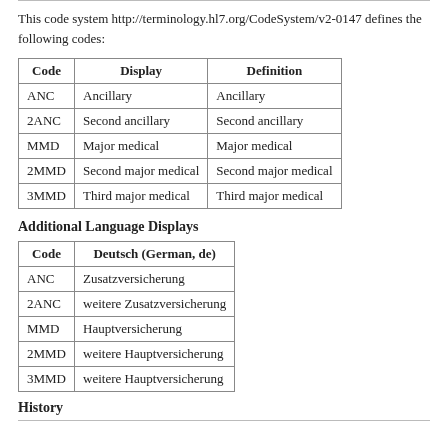This code system http://terminology.hl7.org/CodeSystem/v2-0147 defines the following codes:
| Code | Display | Definition |
| --- | --- | --- |
| ANC | Ancillary | Ancillary |
| 2ANC | Second ancillary | Second ancillary |
| MMD | Major medical | Major medical |
| 2MMD | Second major medical | Second major medical |
| 3MMD | Third major medical | Third major medical |
Additional Language Displays
| Code | Deutsch (German, de) |
| --- | --- |
| ANC | Zusatzversicherung |
| 2ANC | weitere Zusatzversicherung |
| MMD | Hauptversicherung |
| 2MMD | weitere Hauptversicherung |
| 3MMD | weitere Hauptversicherung |
History